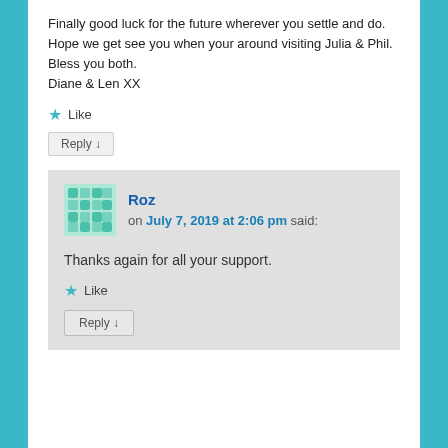Finally good luck for the future wherever you settle and do. Hope we get see you when your around visiting Julia & Phil.
Bless you both.
Diane & Len XX
Like
Reply ↓
Roz on July 7, 2019 at 2:06 pm said:
Thanks again for all your support.
Like
Reply ↓